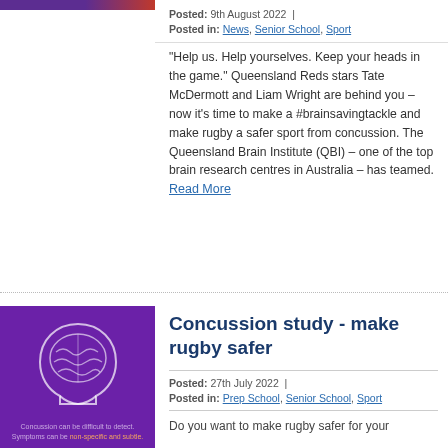[Figure (illustration): Purple banner with text partially visible at top of page]
Posted: 9th August 2022 |
Posted in: News, Senior School, Sport
“Help us. Help yourselves. Keep your heads in the game.” Queensland Reds stars Tate McDermott and Liam Wright are behind you – now it’s time to make a #brainsavingtackle and make rugby a safer sport from concussion. The Queensland Brain Institute (QBI) – one of the top brain research centres in Australia – has teamed. Read More
[Figure (illustration): Purple background with line drawing of a human head profile with brain illustration. Text reads: Concussion can be difficult to detect. Symptoms can be non-specific and subtle.]
Concussion study - make rugby safer
Posted: 27th July 2022 |
Posted in: Prep School, Senior School, Sport
Do you want to make rugby safer for your